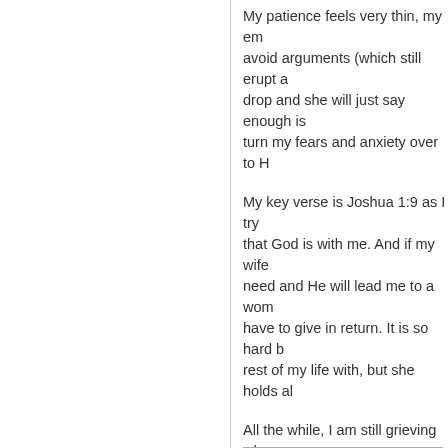My patience feels very thin, my em... avoid arguments (which still erupt a... drop and she will just say enough is... turn my fears and anxiety over to H...
My key verse is Joshua 1:9 as I try... that God is with me. And if my wife... need and He will lead me to a wom... have to give in return. It is so hard b... rest of my life with, but she holds al...
All the while, I am still grieving wha... treated her better than she deserve... a bitter, resentful harvest of hate an... way and receive another. When yo... makes a person very gunshy going...